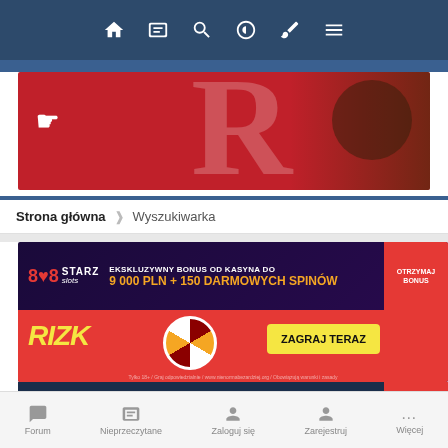[Figure (screenshot): Top navigation bar with icons: home, news, search, toggle, brush, menu on dark blue background]
[Figure (screenshot): Red promotional banner with P logo, large R letter and cowboy character]
Strona główna > Wyszukiwarka
[Figure (screenshot): 888StarZ Slots casino banner: EKSKLUZYWNY BONUS OD KASYNA DO 9 000 PLN + 150 DARMOWYCH SPINÓW, ZAGRAJ TERAZ button, Rizk branding]
[Figure (screenshot): 1XBET banner with OTRZYMAJ BONUS button]
[Figure (screenshot): Bottom navigation bar with Forum, Nieprzeczytane, Zaloguj się, Zarejestruj, Więcej]